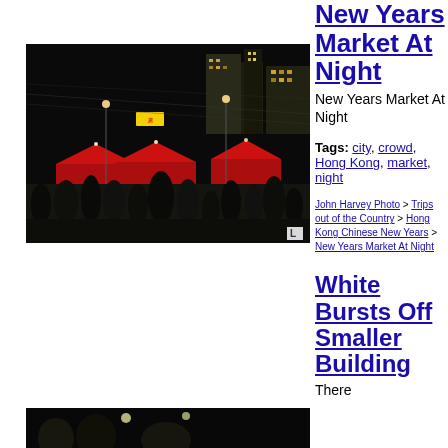[Figure (photo): Night market scene in Hong Kong with crowds of people, red tents/stalls, city buildings lit up in the background]
New Years Market At Night
New Years Market At Night
Tags: city, crowd, Hong Kong, market, night
John Harvey Photo > Trips out of the Country > Hong Kong Chinese New Years > New Years Market At Night
White Bursts Off Smaller Building
There
[Figure (photo): Partial view of another night photo at the bottom of the page]